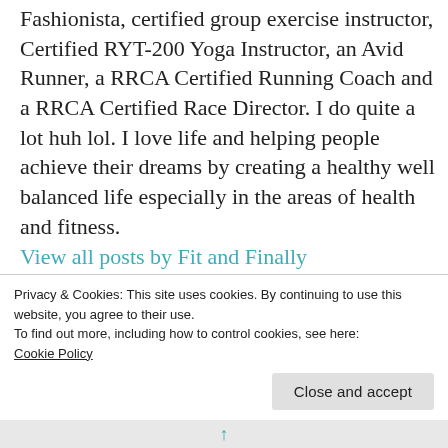Fashionista, certified group exercise instructor, Certified RYT-200 Yoga Instructor, an Avid Runner, a RRCA Certified Running Coach and a RRCA Certified Race Director. I do quite a lot huh lol. I love life and helping people achieve their dreams by creating a healthy well balanced life especially in the areas of health and fitness.
View all posts by Fit and Finally
Privacy & Cookies: This site uses cookies. By continuing to use this website, you agree to their use.
To find out more, including how to control cookies, see here:
Cookie Policy
Close and accept